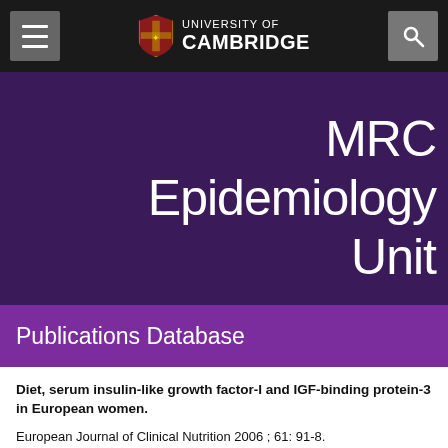[Figure (logo): University of Cambridge navigation bar with hamburger menu, Cambridge shield logo and text, and search icon on dark background]
MRC Epidemiology Unit
Publications Database
Diet, serum insulin-like growth factor-I and IGF-binding protein-3 in European women.
European Journal of Clinical Nutrition 2006 ; 61: 91-8.
Norat T, Dossus L, Rinaldi S, Overvad K, Grønbaek